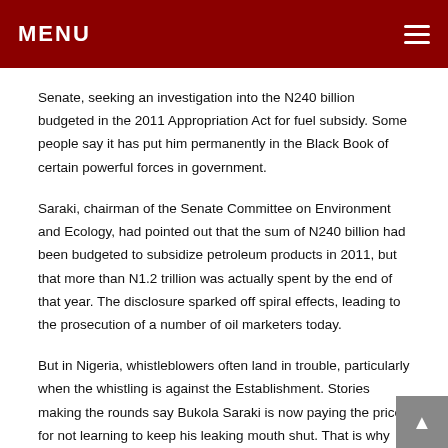MENU
Senate, seeking an investigation into the N240 billion budgeted in the 2011 Appropriation Act for fuel subsidy. Some people say it has put him permanently in the Black Book of certain powerful forces in government.
Saraki, chairman of the Senate Committee on Environment and Ecology, had pointed out that the sum of N240 billion had been budgeted to subsidize petroleum products in 2011, but that more than N1.2 trillion was actually spent by the end of that year. The disclosure sparked off spiral effects, leading to the prosecution of a number of oil marketers today.
But in Nigeria, whistleblowers often land in trouble, particularly when the whistling is against the Establishment. Stories making the rounds say Bukola Saraki is now paying the price for not learning to keep his leaking mouth shut. That is why first the Special Fraud Unit (SFU) of the Nigeria Police was first unleashed against him, and now the EFCC.